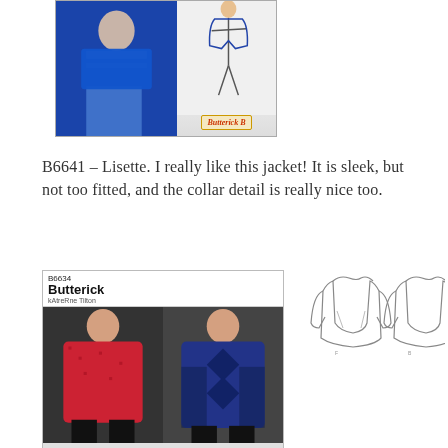[Figure (photo): Butterick B6641 Lisette jacket pattern envelope showing a woman in a blue blazer with jeans and a fashion illustration on white background, with Butterick logo]
B6641 – Lisette.  I really like this jacket!  It is sleek, but not too fitted, and the collar detail is really nice too.
[Figure (photo): Butterick B6634 Katerine Tilton pattern envelope showing two women wearing cowl-neck jackets – one in red patterned fabric and one in navy blue fabric with diamond pattern]
[Figure (illustration): Technical line drawing sketches of the B6634 jacket pattern, showing front and back views of the cowl-neck jacket]